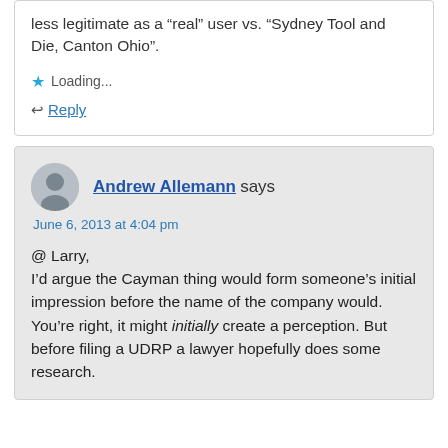less legitimate as a “real” user vs. “Sydney Tool and Die, Canton Ohio”.
Loading...
Reply
Andrew Allemann says
June 6, 2013 at 4:04 pm
@ Larry,
I’d argue the Cayman thing would form someone’s initial impression before the name of the company would.
You’re right, it might initially create a perception. But before filing a UDRP a lawyer hopefully does some research.